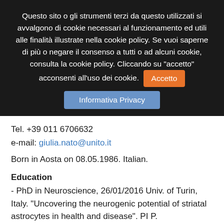Questo sito o gli strumenti terzi da questo utilizzati si avvalgono di cookie necessari al funzionamento ed utili alle finalità illustrate nella cookie policy. Se vuoi saperne di più o negare il consenso a tutti o ad alcuni cookie, consulta la cookie policy. Cliccando su "accetto" acconsenti all'uso dei cookie.  Accetto  Informativa Privacy
Tel. +39 011 6706632
e-mail: giulia.nato@unito.it
Born in Aosta on 08.05.1986. Italian.
Education
- PhD in Neuroscience, 26/01/2016 Univ. of Turin, Italy. "Uncovering the neurogenic potential of striatal astrocytes in health and disease". PI P.